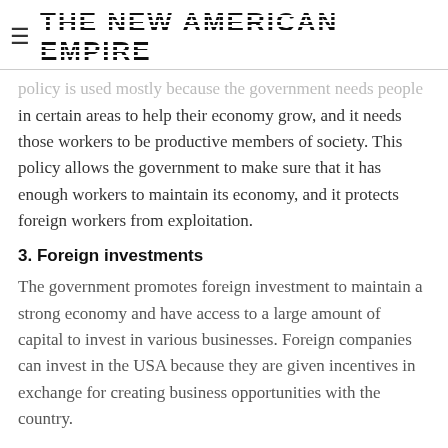THE NEW AMERICAN EMPIRE
policy is used mostly because the government needs people in certain areas to help their economy grow, and it needs those workers to be productive members of society. This policy allows the government to make sure that it has enough workers to maintain its economy, and it protects foreign workers from exploitation.
3. Foreign investments
The government promotes foreign investment to maintain a strong economy and have access to a large amount of capital to invest in various businesses. Foreign companies can invest in the USA because they are given incentives in exchange for creating business opportunities with the country.
The above foreign policies are important because they help create a fair and prosperous society that treats every person as an equal. The government also uses this method to keep...